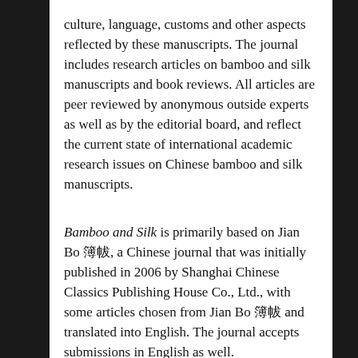culture, language, customs and other aspects reflected by these manuscripts. The journal includes research articles on bamboo and silk manuscripts and book reviews. All articles are peer reviewed by anonymous outside experts as well as by the editorial board, and reflect the current state of international academic research issues on Chinese bamboo and silk manuscripts.
Bamboo and Silk is primarily based on Jian Bo 简帛, a Chinese journal that was initially published in 2006 by Shanghai Chinese Classics Publishing House Co., Ltd., with some articles chosen from Jian Bo 简帛 and translated into English. The journal accepts submissions in English as well.
Activate your free access in 4 easy steps:
1. go to booksandjournals.brillonline.com http://booksandjournals.brillonline.com
2. register to create your own user account
3. go to my account and click on add content